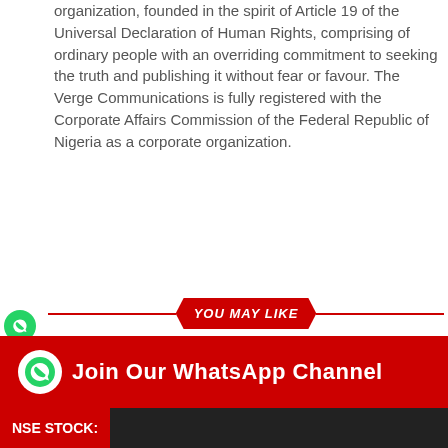organization, founded in the spirit of Article 19 of the Universal Declaration of Human Rights, comprising of ordinary people with an overriding commitment to seeking the truth and publishing it without fear or favour. The Verge Communications is fully registered with the Corporate Affairs Commission of the Federal Republic of Nigeria as a corporate organization.
[Figure (infographic): Social media sharing sidebar icons: WhatsApp (green), Facebook (blue), Twitter (blue), LinkedIn (blue), Pinterest (red), Reddit (orange), Email (grey), Print (grey)]
YOU MAY LIKE
COMMENTS
ALSO ON NEWSVERGE.COM
[Figure (photo): Two grey placeholder thumbnail images side by side]
[Figure (infographic): Red banner with WhatsApp icon and text: Join Our WhatsApp Channel]
NSE STOCK: